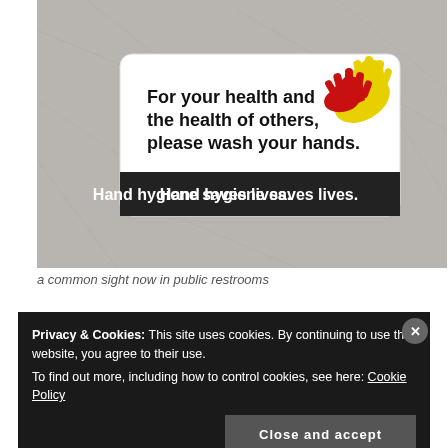[Figure (photo): A hand hygiene sign on a textured gray surface reading 'For your health and the health of others, please wash your hands.' with a red and yellow handwashing icon, and a black banner at the bottom saying 'Hand hygiene saves lives.']
a common sight now in public restrooms
Privacy & Cookies: This site uses cookies. By continuing to use this website, you agree to their use. To find out more, including how to control cookies, see here: Cookie Policy
Close and accept